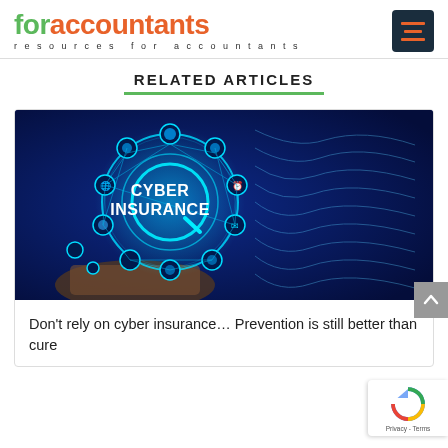foraccountants — resources for accountants
RELATED ARTICLES
[Figure (photo): Cyber insurance concept image showing a glowing blue network/sphere with interconnected nodes and icons, with the text 'CYBER INSURANCE' displayed prominently, held above a hand against a digital background.]
Don't rely on cyber insurance… Prevention is still better than cure